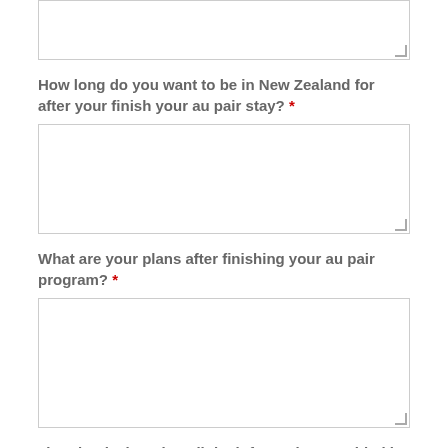[Figure (other): Empty text area input box at top of page (partial, cropped)]
How long do you want to be in New Zealand for after your finish your au pair stay? *
[Figure (other): Empty text area input box for duration in New Zealand]
What are your plans after finishing your au pair program? *
[Figure (other): Empty text area input box for plans after au pair program]
I hereby declare that all the information provided in this form is true and correct and that I will inform you of any changes to